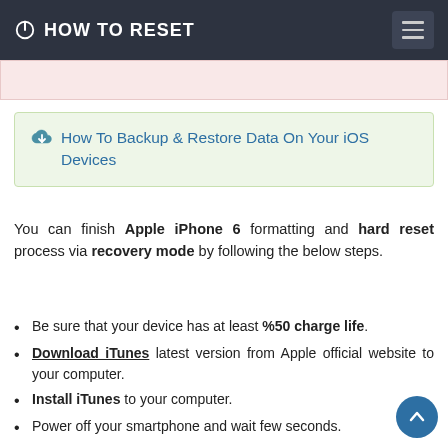HOW TO RESET
How To Backup & Restore Data On Your iOS Devices
You can finish Apple iPhone 6 formatting and hard reset process via recovery mode by following the below steps.
Be sure that your device has at least %50 charge life.
Download iTunes latest version from Apple official website to your computer.
Install iTunes to your computer.
Power off your smartphone and wait few seconds.
When its off, tap and hold Center (Home) key and connect your device to the computer with the usb cable.